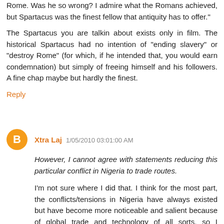Rome. Was he so wrong? I admire what the Romans achieved, but Spartacus was the finest fellow that antiquity has to offer."
The Spartacus you are talkin about exists only in film. The historical Spartacus had no intention of "ending slavery" or "destroy Rome" (for which, if he intended that, you would earn condemnation) but simply of freeing himself and his followers. A fine chap maybe but hardly the finest.
Reply
Xtra Laj 1/05/2010 03:01:00 AM
However, I cannot agree with statements reducing this particular conflict in Nigeria to trade routes.
I'm not sure where I did that. I think for the most part, the conflicts/tensions in Nigeria have always existed but have become more noticeable and salient because of global trade and technology of all sorts, so I disagree that they are due to the *growing* influence of religion.